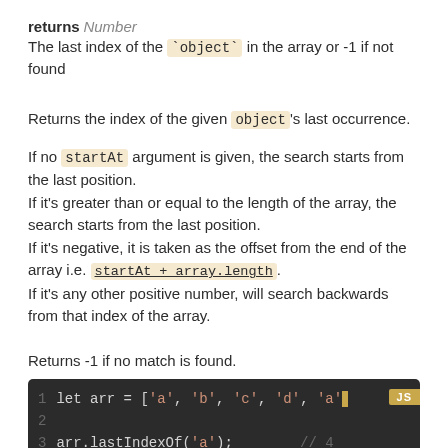returns Number
The last index of the `object` in the array or -1 if not found
Returns the index of the given object's last occurrence.
If no startAt argument is given, the search starts from the last position.
If it's greater than or equal to the length of the array, the search starts from the last position.
If it's negative, it is taken as the offset from the end of the array i.e. startAt + array.length.
If it's any other positive number, will search backwards from that index of the array.
Returns -1 if no match is found.
[Figure (screenshot): Code block showing JavaScript: line 1: let arr = ['a', 'b', 'c', 'd', 'a'], line 2: (empty), line 3: arr.lastIndexOf('a'); // 4, with JS badge]